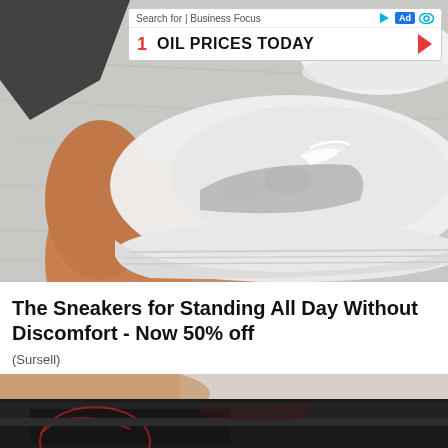[Figure (photo): Photo of white and gray knit sneaker being held by a person's hand, showing the shoe's mesh texture and chunky white sole, on a light gray wooden floor background]
[Figure (screenshot): Ad banner overlay: 'Search for | Business Focus' with play icon, Ad badge, and eye icon on top row; row below shows '1  OIL PRICES TODAY' with red arrow on right]
The Sneakers for Standing All Day Without Discomfort - Now 50% off
(Sursell)
[Figure (photo): Partial photo of a person wearing black athletic wear, showing torso and hip area with a circular red graphic element visible at the lower left]